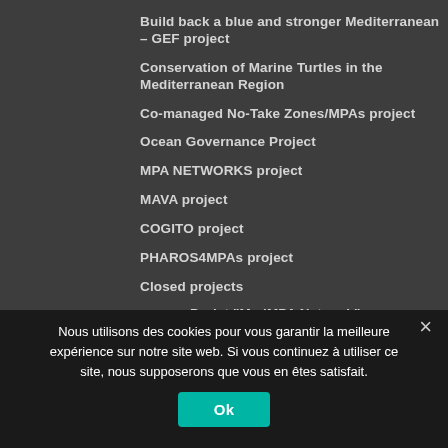Build back a blue and stronger Mediterranean – GEF project
Conservation of Marine Turtles in the Mediterranean Region
Co-managed No-Take Zones/MPAs project
Ocean Governance Project
MPA NETWORKS project
MAVA project
COGITO project
PHAROS4MPAs project
Closed projects
Projet "MedMPA Network"
FishMPABlue2 project
DESTIMED project
Nous utilisons des cookies pour vous garantir la meilleure expérience sur notre site web. Si vous continuez à utiliser ce site, nous supposerons que vous en êtes satisfait.